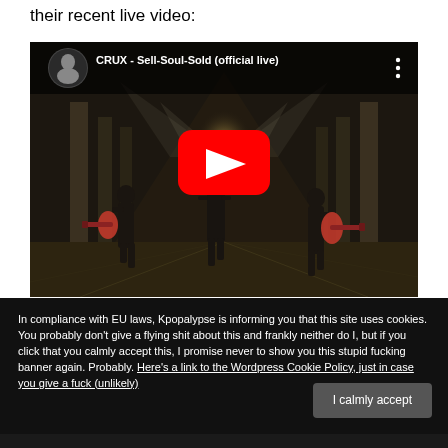their recent live video:
[Figure (screenshot): YouTube video embed thumbnail showing CRUX - Sell-Soul-Sold (official live) with a red YouTube play button in the center. The video shows a band performing in a dark industrial corridor with dramatic lighting. Title bar reads 'CRUX - Sell-Soul-Sold (official live)' with a band logo avatar on the left and a three-dot menu on the right.]
In compliance with EU laws, Kpopalypse is informing you that this site uses cookies. You probably don't give a flying shit about this and frankly neither do I, but if you click that you calmly accept this, I promise never to show you this stupid fucking banner again. Probably. Here's a link to the Wordpress Cookie Policy, just in case you give a fuck (unlikely)
I calmly accept